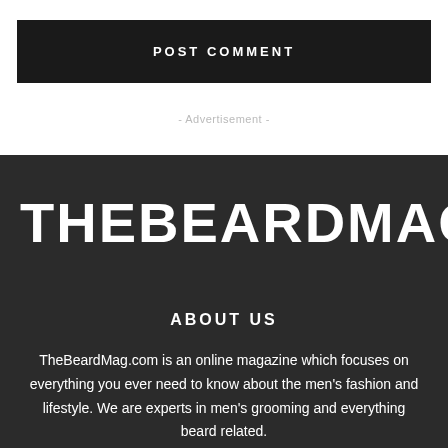POST COMMENT
- Advertisement -
THEBEARDMAG
ABOUT US
TheBeardMag.com is an online magazine which focuses on everything you ever need to know about the men's fashion and lifestyle. We are experts in men's grooming and everything beard related.